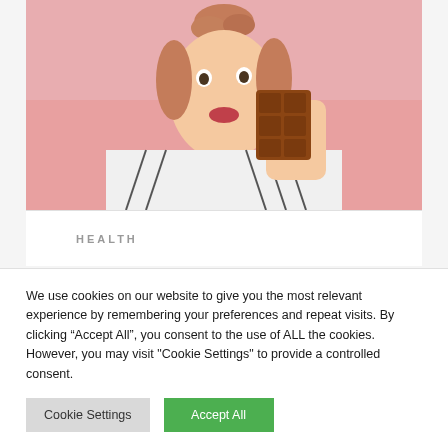[Figure (photo): Young woman with hair in bun, making a kissing face, holding a chocolate bar, wearing a striped white jacket, pink background]
HEALTH
We use cookies on our website to give you the most relevant experience by remembering your preferences and repeat visits. By clicking “Accept All”, you consent to the use of ALL the cookies. However, you may visit "Cookie Settings" to provide a controlled consent.
Cookie Settings | Accept All